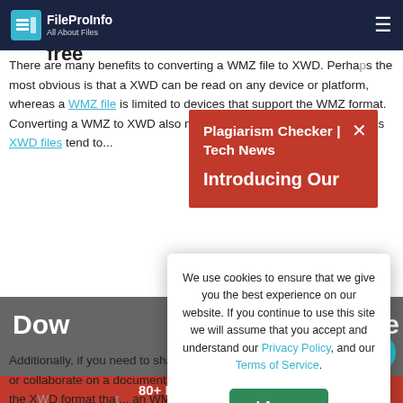FileProInfo — All About Files
Convert wmz to xwd online & free
There are many benefits to converting a WMZ file to XWD. Perhaps the most obvious is that a XWD can be read on any device or platform, whereas a WMZ file is limited to devices that support the WMZ format. Converting a WMZ to XWD also makes it easier to share and read, as XWD files tend to...
[Figure (screenshot): Red popup banner with title 'Plagiarism Checker | Tech News' and bold text 'Introducing Our' with a close X button]
[Figure (screenshot): Cookie consent modal saying 'We use cookies to ensure that we give you the best experience on our website. If you continue to use this site we will assume that you accept and understand our Privacy Policy, and our Terms of Service.' with an 'I Agree' green button]
Additionally, if you need to share or collaborate on a document, the XWD format that... an WMZ file to XWD... be done online for f... WD converter
[Figure (screenshot): Bottom image strip showing partially visible text 'Dow' and 'ide' with a red banner '80+ Free SEO Tools' and an ad icon]